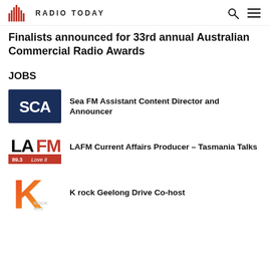RADIO TODAY
Finalists announced for 33rd annual Australian Commercial Radio Awards
JOBS
[Figure (logo): SCA logo - white text on dark navy blue background]
Sea FM Assistant Content Director and Announcer
[Figure (logo): LAFM 89.3 Love it logo - black and red]
LAFM Current Affairs Producer – Tasmania Talks
[Figure (logo): K rock 95.5 logo - orange and red gradient K]
K rock Geelong Drive Co-host